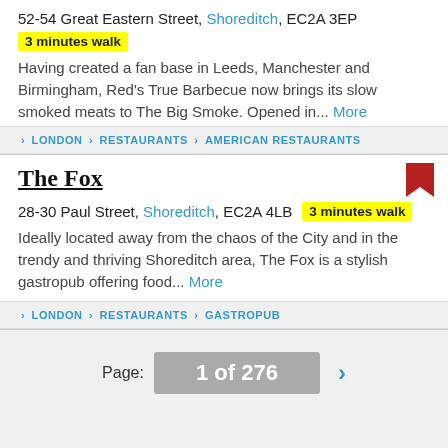52-54 Great Eastern Street, Shoreditch, EC2A 3EP
3 minutes walk
Having created a fan base in Leeds, Manchester and Birmingham, Red's True Barbecue now brings its slow smoked meats to The Big Smoke. Opened in... More
LONDON > RESTAURANTS > AMERICAN RESTAURANTS
The Fox
28-30 Paul Street, Shoreditch, EC2A 4LB  3 minutes walk
Ideally located away from the chaos of the City and in the trendy and thriving Shoreditch area, The Fox is a stylish gastropub offering food... More
LONDON > RESTAURANTS > GASTROPUB
Page: 1 of 276